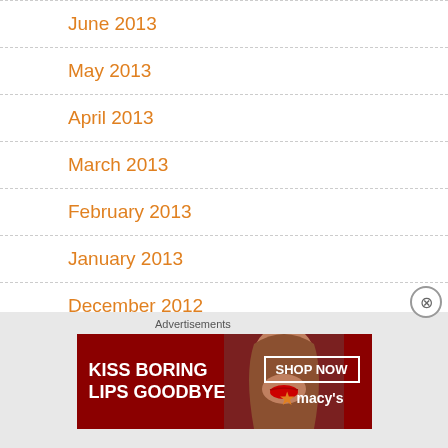June 2013
May 2013
April 2013
March 2013
February 2013
January 2013
December 2012
November 2012
Advertisements
[Figure (illustration): Macy's advertisement banner: 'KISS BORING LIPS GOODBYE' with SHOP NOW button and Macy's star logo, featuring a woman with red lips]